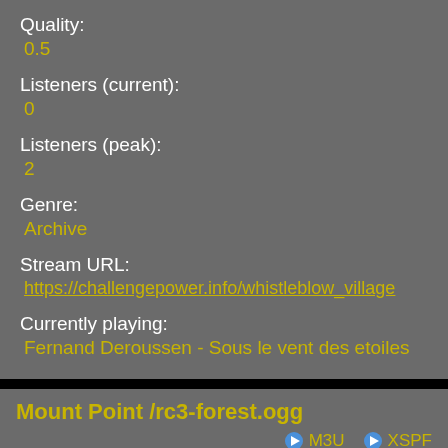Quality:
0.5
Listeners (current):
0
Listeners (peak):
2
Genre:
Archive
Stream URL:
https://challengepower.info/whistleblow_village
Currently playing:
Fernand Deroussen - Sous le vent des etoiles
Mount Point /rc3-forest.ogg
M3U  XSPF
[Figure (screenshot): Audio player UI with play button, 0:00 / 0:00 time display, progress bar, volume icon, and more options icon]